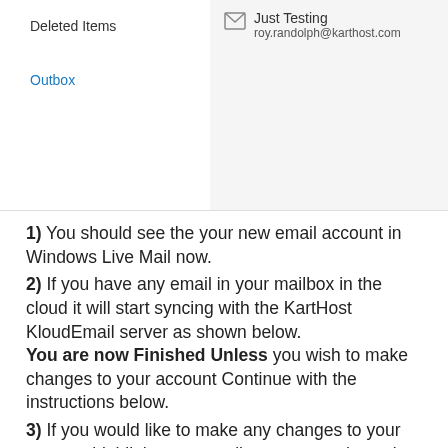[Figure (screenshot): Windows Live Mail interface showing left panel with 'Deleted Items' and 'Outbox' folder links, and right panel showing an email entry with envelope icon, subject 'Just Testing' and sender 'roy.randolph@karthost.com']
1) You should see the your new email account in Windows Live Mail now.
2) If you have any email in your mailbox in the cloud it will start syncing with the KartHost KloudEmail server as shown below. You are now Finished Unless you wish to make changes to your account Continue with the instructions below.
3) If you would like to make any changes to your account highlight your email account as shown in the image above and then click the Properties icon.
-- If You Need to Make Any Changes To